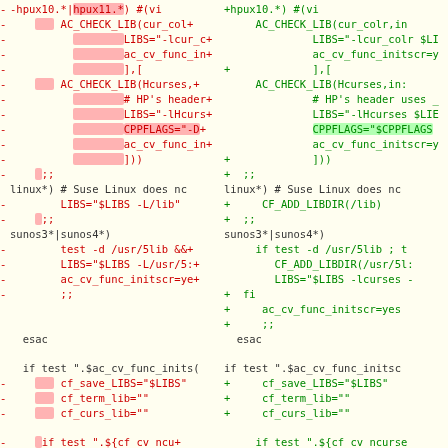[Figure (screenshot): A diff view showing code changes in two columns (left: old, right: new). Red lines with '-' indicate deletions, green lines with '+' indicate additions, context lines are shown in dark color. The code relates to autoconf macros for ncurses/curses library detection (AC_CHECK_LIB, LIBS, CPPFLAGS, CF_ADD_LIBDIR etc.). Pink/red highlights mark changed tokens on left; green highlights mark changed tokens on right.]